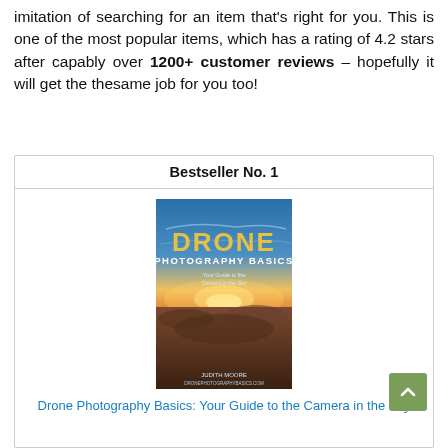imitation of searching for an item that's right for you. This is one of the most popular items, which has a rating of 4.2 stars after capably over 1200+ customer reviews – hopefully it will get the thesame job for you too!
| Bestseller No. 1 |
| --- |
| [Book cover image: Drone Photography Basics] |
| Drone Photography Basics: Your Guide to the Camera in the Sky |
Drone Photography Basics: Your Guide to the Camera in the Sky